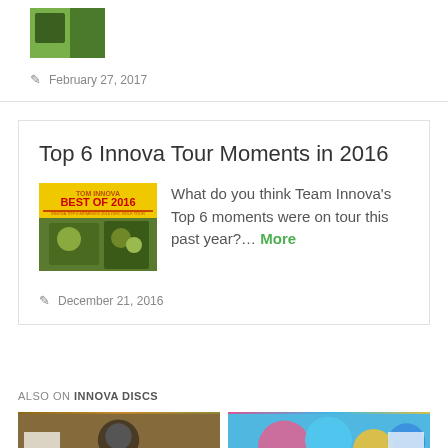[Figure (photo): Small thumbnail image, partial view at top]
February 27, 2017
Top 6 Innova Tour Moments in 2016
[Figure (photo): Best of 2016 thumbnail image]
What do you think Team Innova's Top 6 moments were on tour this past year?... More
December 21, 2016
ALSO ON INNOVA DISCS
[Figure (photo): Person wearing black hat outdoors]
[Figure (photo): Colorful Innova discs]